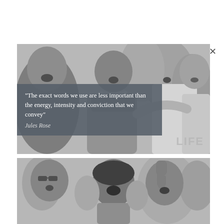[Figure (photo): Black and white photograph of a crowd of people cheering and shouting, mouths open, looking upward. A woman in the foreground wears a pearl necklace and knit top. Multiple people visible in background.]
“The exact words we use are less important than the energy, intensity and conviction that we convey” Jules Rose
[Figure (photo): Black and white photograph of a crowd cheering enthusiastically. A woman with dark hair yells with mouth open, a man behind her raises a fist in the air. Other people visible in background.]